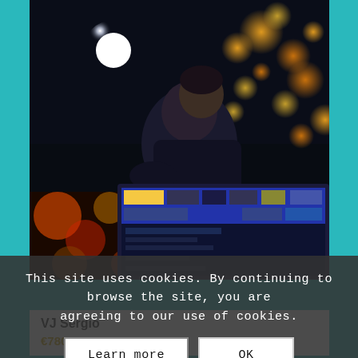[Figure (photo): A person (DJ/VJ) standing behind a large screen/mixer console with colorful bokeh lights in the background. The scene is dark with a bright spotlight on the left and warm orange bokeh on the right. The person is wearing dark clothing.]
This site uses cookies. By continuing to browse the site, you are agreeing to our use of cookies.
Learn more
OK
VJ Sergio
€780,00